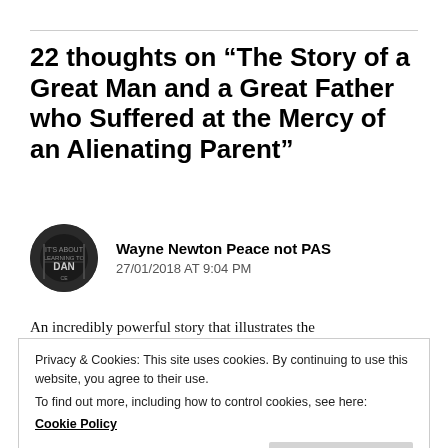22 thoughts on “The Story of a Great Man and a Great Father who Suffered at the Mercy of an Alienating Parent”
Wayne Newton Peace not PAS
27/01/2018 AT 9:04 PM
An incredibly powerful story that illustrates the
Privacy & Cookies: This site uses cookies. By continuing to use this website, you agree to their use.
To find out more, including how to control cookies, see here: Cookie Policy
But their spite and selfishness literally destroys not